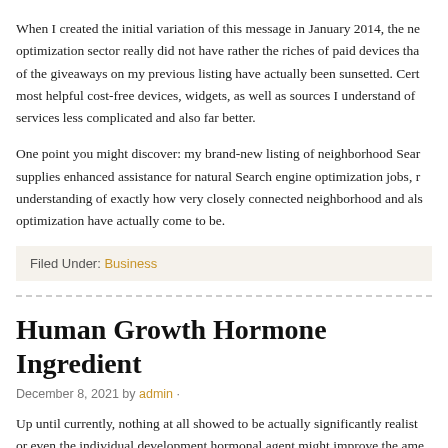When I created the initial variation of this message in January 2014, the ne optimization sector really did not have rather the riches of paid devices tha of the giveaways on my previous listing have actually been sunsetted. Cert most helpful cost-free devices, widgets, as well as sources I understand of services less complicated and also far better.
One point you might discover: my brand-new listing of neighborhood Sear supplies enhanced assistance for natural Search engine optimization jobs, r understanding of exactly how very closely connected neighborhood and als optimization have actually come to be.
Filed Under: Business
Human Growth Hormone Ingredient
December 8, 2021 by admin ·
Up until currently, nothing at all showed to be actually significantly realist or even the individual development hormonal agent might improve the ame b lik d t HGF 1 O th i th d t ti